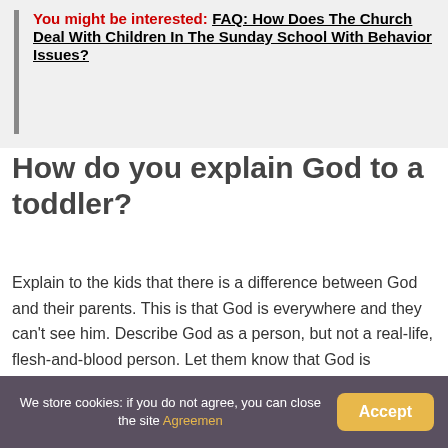You might be interested: FAQ: How Does The Church Deal With Children In The Sunday School With Behavior Issues?
How do you explain God to a toddler?
Explain to the kids that there is a difference between God and their parents. This is that God is everywhere and they can't see him. Describe God as a person, but not a real-life, flesh-and-blood person. Let them know that God is everywhere.
We store cookies: if you do not agree, you can close the site Agreemen